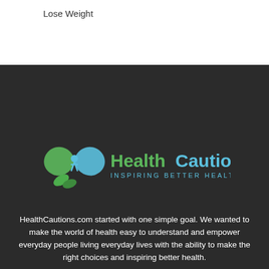Lose Weight
[Figure (logo): HealthCautions logo with green and blue heart icon and text 'HealthCautions INSPIRING BETTER HEALTH']
HealthCautions.com started with one simple goal. We wanted to make the world of health easy to understand and empower everyday people living everyday lives with the ability to make the right choices and inspiring better health.
POPULAR POSTS
Why You Should try This Great Green Juice that Really Works...